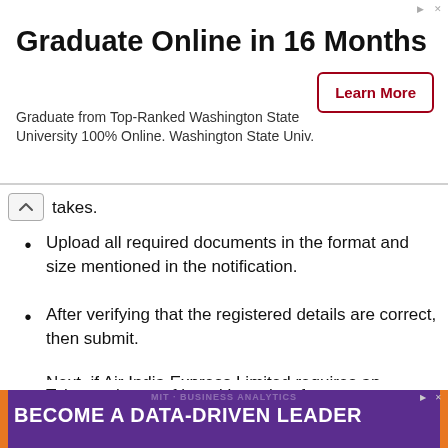[Figure (infographic): Advertisement banner: 'Graduate Online in 16 Months' - Graduate from Top-Ranked Washington State University 100% Online. Washington State Univ. With a 'Learn More' button.]
takes.
Upload all required documents in the format and size mentioned in the notification.
After verifying that the registered details are correct, then submit.
Next, if Air India Express Limited requires an application fee, make the payment as per the notification mode. Otherwise, go to the next step.
Take a printout of it and keep it safe
[Figure (photo): Advertisement banner with purple background showing 'BECOME A DATA-DRIVEN LEADER' text. A woman smiling in the foreground, globe icons, Cape Town label, wall photo on left side.]